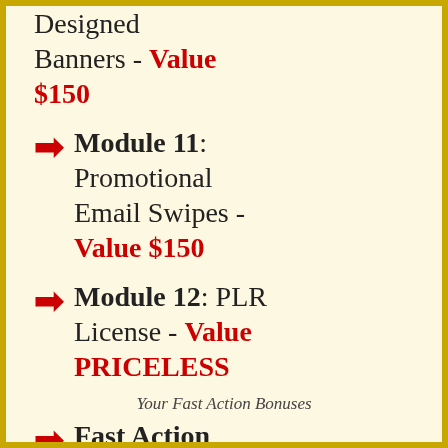Designed Banners - Value $150
Module 11: Promotional Email Swipes - Value $150
Module 12: PLR License - Value PRICELESS
Your Fast Action Bonuses
Fast Action